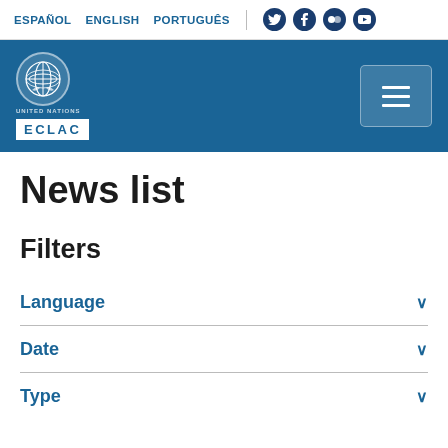ESPAÑOL  ENGLISH  PORTUGUÊS
[Figure (logo): ECLAC/United Nations logo with blue header band and hamburger menu]
News list
Filters
Language
Date
Type